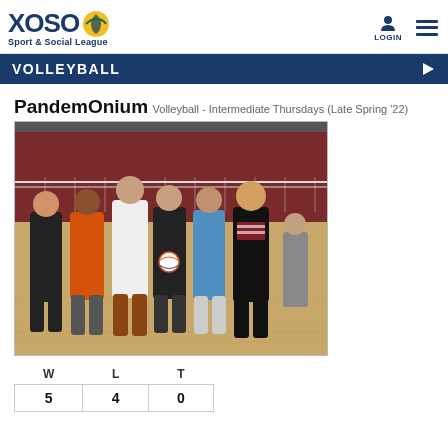XOSO Sport & Social League | LOGIN
VOLLEYBALL
PandemOnium
Volleyball - Intermediate Thursdays (Late Spring '22)
[Figure (photo): Group photo of volleyball team PandemOnium standing in front of a volleyball net inside a gymnasium with a wooden floor. Six players posed together, mixed group of men and women.]
| W | L | T |
| --- | --- | --- |
| 5 | 4 | 0 |